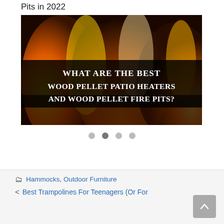Pits in 2022
[Figure (photo): A photo of flames with overlaid bold white text on a black banner reading: WHAT ARE THE BEST WOOD PELLET PATIO HEATERS AND WOOD PELLET FIRE PITS?]
• • • •  (carousel navigation dots, second dot active)
Hammocks, Outdoor Furniture
< Best Trampolines For Teenagers (Or For